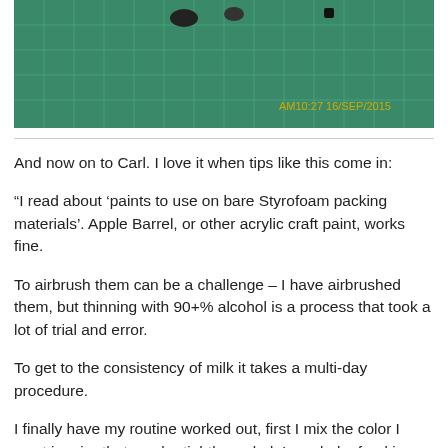[Figure (photo): Photo of small model pieces/miniatures on a green cutting mat grid, with timestamp AM10:27 16/SEP/2015 in bottom right corner]
And now on to Carl. I love it when tips like this come in:
“I read about ‘paints to use on bare Styrofoam packing materials’. Apple Barrel, or other acrylic craft paint, works fine.
To airbrush them can be a challenge – I have airbrushed them, but thinning with 90+% alcohol is a process that took a lot of trial and error.
To get to the consistency of milk it takes a multi-day procedure.
I finally have my routine worked out, first I mix the color I want in a jar that can be tightly sealed, I use baby food jars mostly.
I then add about double the amount of alcohol as paint to the